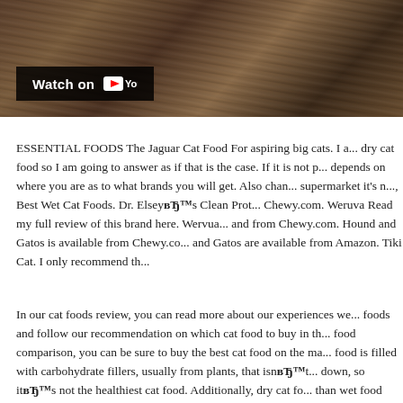[Figure (screenshot): A wood-grain texture image with a 'Watch on YouTube' badge overlay in the bottom-left corner showing a YouTube play button icon and the YouTube logo]
ESSENTIAL FOODS The Jaguar Cat Food For aspiring big cats. I a... dry cat food so I am going to answer as if that is the case. If it is not p... depends on where you are as to what brands you will get. Also chan... supermarket it's n..., Best Wet Cat Foods. Dr. Elsey's Clean Prot... Chewy.com. Weruva Read my full review of this brand here. Wervua... and from Chewy.com. Hound and Gatos is available from Chewy.co... and Gatos are available from Amazon. Tiki Cat. I only recommend th...
In our cat foods review, you can read more about our experiences we... foods and follow our recommendation on which cat food to buy in th... food comparison, you can be sure to buy the best cat food on the ma... food is filled with carbohydrate fillers, usually from plants, that isn't... down, so it's not the healthiest cat food. Additionally, dry cat fo... than wet food – 10 percent to 78 percent, while foods cats consum...